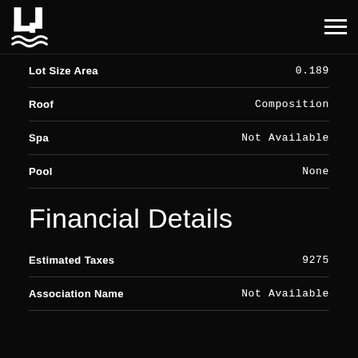[Figure (logo): LJ logo with wave graphic in white on black background]
| Property | Value |
| --- | --- |
| Lot Size Area | 0.189 |
| Roof | Composition |
| Spa | Not Available |
| Pool | None |
Financial Details
| Property | Value |
| --- | --- |
| Estimated Taxes | 9275 |
| Association Name | Not Available |